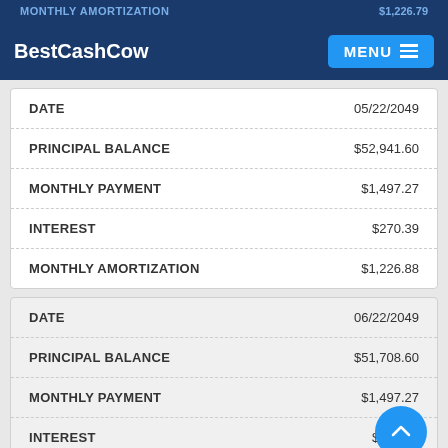MONTHLY AMORTIZATION | $1,226.79 (partial, cut off)
BestCashCow | MENU
|  |  |
| --- | --- |
| DATE | 05/22/2049 |
| PRINCIPAL BALANCE | $52,941.60 |
| MONTHLY PAYMENT | $1,497.27 |
| INTEREST | $270.39 |
| MONTHLY AMORTIZATION | $1,226.88 |
|  |  |
| --- | --- |
| DATE | 06/22/2049 |
| PRINCIPAL BALANCE | $51,708.60 |
| MONTHLY PAYMENT | $1,497.27 |
| INTEREST | $264.27 |
| MONTHLY AMORTIZATION | $1,233.00 |